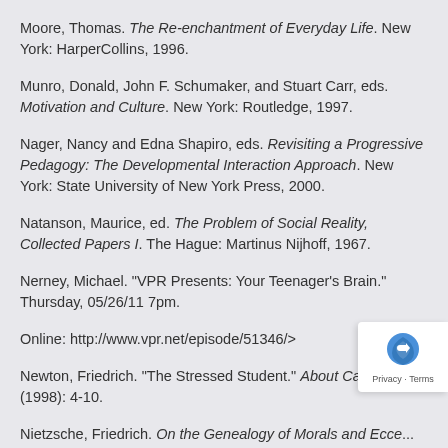Moore, Thomas. The Re-enchantment of Everyday Life. New York: HarperCollins, 1996.
Munro, Donald, John F. Schumaker, and Stuart Carr, eds. Motivation and Culture. New York: Routledge, 1997.
Nager, Nancy and Edna Shapiro, eds. Revisiting a Progressive Pedagogy: The Developmental Interaction Approach. New York: State University of New York Press, 2000.
Natanson, Maurice, ed. The Problem of Social Reality, Collected Papers I. The Hague: Martinus Nijhoff, 1967.
Nerney, Michael. "VPR Presents: Your Teenager's Brain." Thursday, 05/26/11 7pm.
Online: http://www.vpr.net/episode/51346/>
Newton, Friedrich. "The Stressed Student." About Ca... no. 2 (1998): 4-10.
Nietzsche, Friedrich. On the Genealogy of Morals and Ecce...